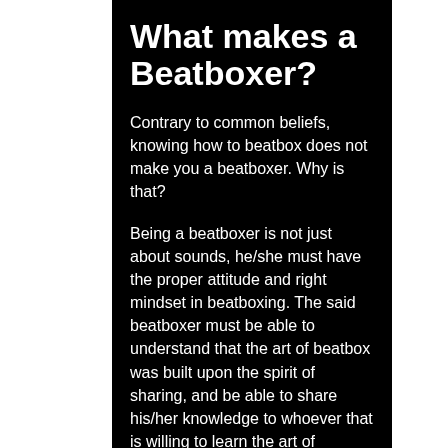What makes a Beatboxer?
Contrary to common beliefs, knowing how to beatbox does not make you a beatboxer. Why is that?
Being a beatboxer is not just about sounds, he/she must have the proper attitude and right mindset in beatboxing. The said beatboxer must be able to understand that the art of beatbox was built upon the spirit of sharing, and be able to share his/her knowledge to whoever that is willing to learn the art of Beatbox.
The beatboxer must also